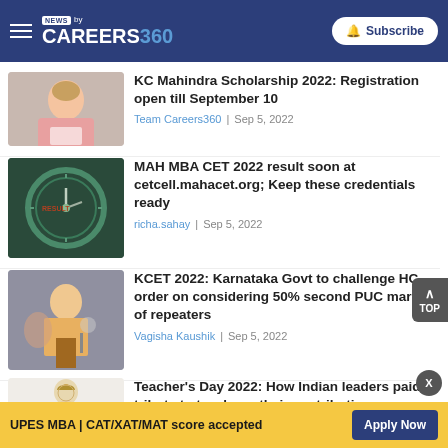NEWS by CAREERS360 | Subscribe
[Figure (photo): Woman celebrating with paper, KC Mahindra Scholarship article image]
KC Mahindra Scholarship 2022: Registration open till September 10
Team Careers360 | Sep 5, 2022
[Figure (photo): Clock face with RESULT written on it]
MAH MBA CET 2022 result soon at cetcell.mahacet.org; Keep these credentials ready
richa.sahay | Sep 5, 2022
[Figure (photo): Person speaking at microphone, KCET article image]
KCET 2022: Karnataka Govt to challenge HC order on considering 50% second PUC marks of repeaters
Vagisha Kaushik | Sep 5, 2022
[Figure (illustration): Illustration of a person with turban, Teacher's Day article image]
Teacher's Day 2022: How Indian leaders paid tribute to teachers, their contributions
UPES MBA | CAT/XAT/MAT score accepted
Apply Now